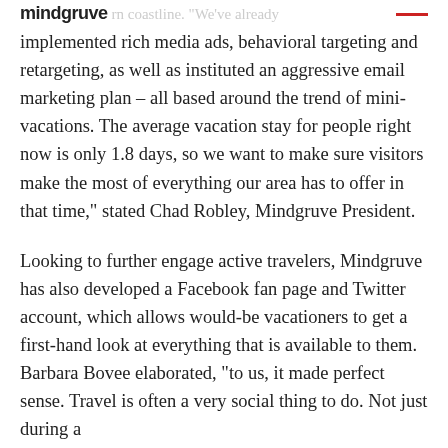mindgruve  ...ern coastline. "We've already
implemented rich media ads, behavioral targeting and retargeting, as well as instituted an aggressive email marketing plan – all based around the trend of mini-vacations. The average vacation stay for people right now is only 1.8 days, so we want to make sure visitors make the most of everything our area has to offer in that time," stated Chad Robley, Mindgruve President.
Looking to further engage active travelers, Mindgruve has also developed a Facebook fan page and Twitter account, which allows would-be vacationers to get a first-hand look at everything that is available to them. Barbara Bovee elaborated, "to us, it made perfect sense. Travel is often a very social thing to do. Not just during a